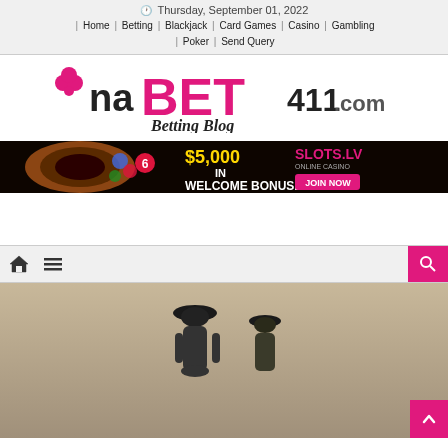Thursday, September 01, 2022
| Home | Betting | Blackjack | Card Games | Casino | Gambling | Poker | Send Query
[Figure (logo): NaBET411.com Betting Blog logo in pink/black]
[Figure (infographic): Slots.LV banner ad: $5,000 in Welcome Bonuses, Join Now, with roulette table image]
[Figure (other): Toolbar with home icon, menu icon, and pink search button on right]
[Figure (photo): Bottom photo showing two people, one in a hat, partial view]